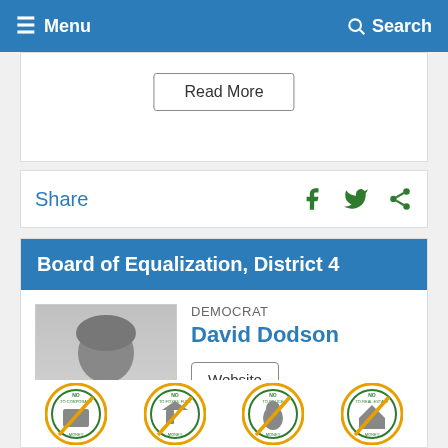Menu  Search
Read More
Share
Board of Equalization, District 4
[Figure (photo): Silhouette placeholder photo with label 'No Photo Submitted']
DEMOCRAT
David Dodson
Website  Endorsements
[Figure (infographic): Four circular badge icons partially visible at the bottom: NO TO CORPORATE MONEY, NO TO FOSSIL FUEL MONEY, NO TO POLICE MONEY, NO TO REAL ESTATE MONEY]